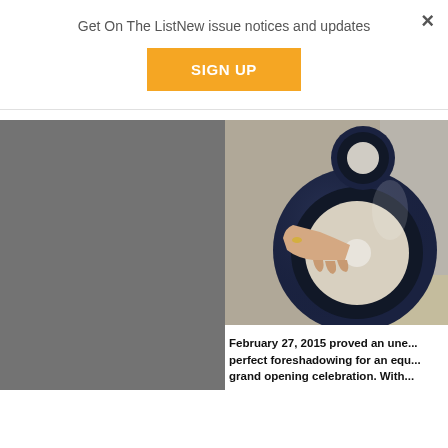Get On The ListNew issue notices and updates
SIGN UP
×
[Figure (photo): Grey rectangular placeholder image on left side]
[Figure (photo): Close-up photo of a dark blue/black speaker driver being held by a hand with a ring. The speaker shows a large woofer cone and a smaller tweeter above it, with chrome/glossy finish.]
February 27, 2015 proved an une... perfect foreshadowing for an equ... grand opening celebration. With...